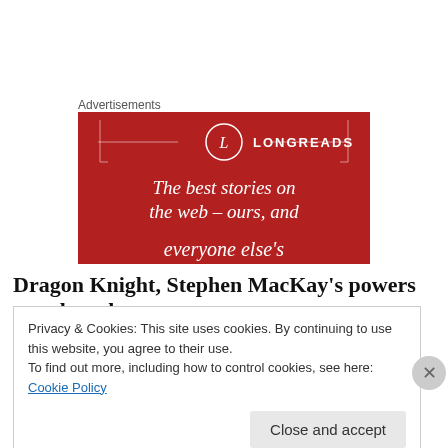Advertisements
[Figure (illustration): Longreads advertisement banner with red background. Shows the Longreads logo (circle with L) and text: 'The best stories on the web – ours, and everyone else's']
Dragon Knight, Stephen MacKay's powers are altered
Privacy & Cookies: This site uses cookies. By continuing to use this website, you agree to their use.
To find out more, including how to control cookies, see here: Cookie Policy
Close and accept